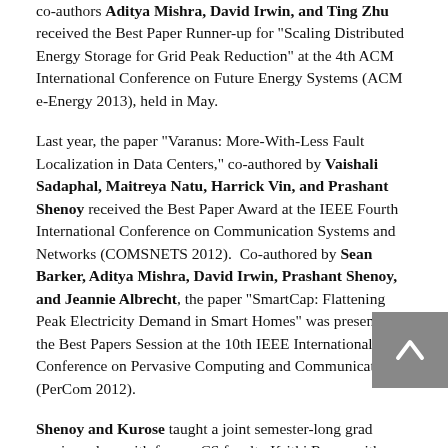co-authors Aditya Mishra, David Irwin, and Ting Zhu received the Best Paper Runner-up for "Scaling Distributed Energy Storage for Grid Peak Reduction" at the 4th ACM International Conference on Future Energy Systems (ACM e-Energy 2013), held in May.
Last year, the paper "Varanus: More-With-Less Fault Localization in Data Centers," co-authored by Vaishali Sadaphal, Maitreya Natu, Harrick Vin, and Prashant Shenoy received the Best Paper Award at the IEEE Fourth International Conference on Communication Systems and Networks (COMSNETS 2012).  Co-authored by Sean Barker, Aditya Mishra, David Irwin, Prashant Shenoy, and Jeannie Albrecht, the paper "SmartCap: Flattening Peak Electricity Demand in Smart Homes" was presented in the Best Papers Session at the 10th IEEE International Conference on Pervasive Computing and Communications (PerCom 2012).
Shenoy and Kurose taught a joint semester-long grad seminar class with former CS faculty Krithi Ramamritham